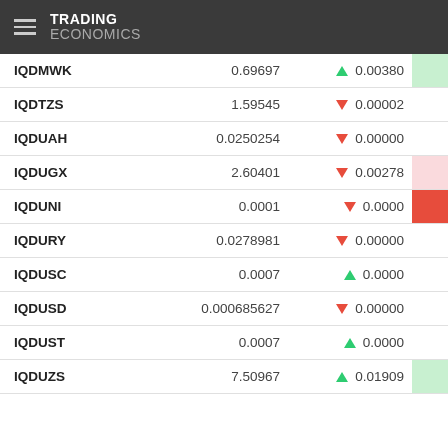TRADING ECONOMICS
| Name | Value | Change | % Change |
| --- | --- | --- | --- |
| IQDMWK | 0.69697 | ▲ 0.00380 | 0.55% |
| IQDTZS | 1.59545 | ▼ 0.00002 | 0.00% |
| IQDUAH | 0.0250254 | ▼ 0.00000 | 0.00% |
| IQDUGX | 2.60401 | ▼ 0.00278 | -0.11% |
| IQDUNI | 0.0001 | ▼ 0.0000 | -3.20% |
| IQDURY | 0.0278981 | ▼ 0.00000 | -0.03% |
| IQDUSC | 0.0007 | ▲ 0.0000 | 0.00% |
| IQDUSD | 0.000685627 | ▼ 0.00000 | 0.00% |
| IQDUST | 0.0007 | ▲ 0.0000 | 0.00% |
| IQDUZS | 7.50967 | ▲ 0.01909 | 0.25% |